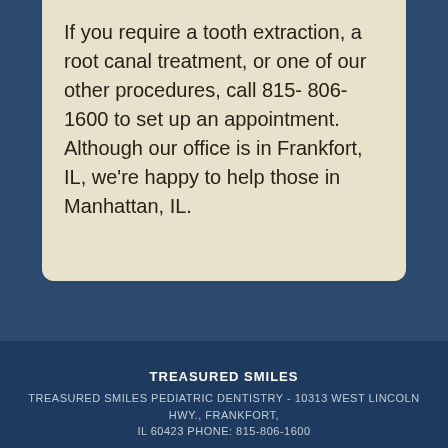If you require a tooth extraction, a root canal treatment, or one of our other procedures, call 815- 806-1600 to set up an appointment. Although our office is in Frankfort, IL, we're happy to help those in Manhattan, IL.
TREASURED SMILES
TREASURED SMILES PEDIATRIC DENTISTRY - 10313 WEST LINCOLN HWY., FRANKFORT, IL 60423 PHONE: 815-806-1600
2022 © ALL RIGHTS RESERVED | PRIVACY POLICY | WEBSITE DESIGN BY: INTRADO | LOGIN